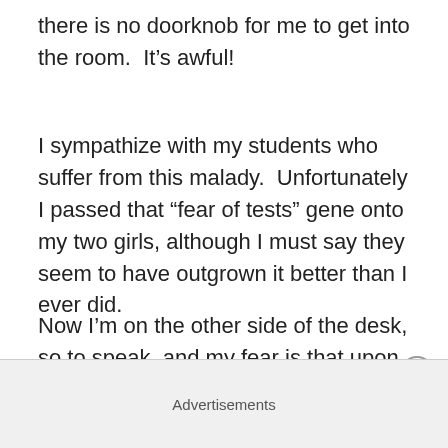there is no doorknob for me to get into the room.  It's awful!
I sympathize with my students who suffer from this malady.  Unfortunately I passed that “fear of tests” gene onto my two girls, although I must say they seem to have outgrown it better than I ever did.
Now I’m on the other side of the desk, so to speak, and my fear is that upon marking my student’s exams, I will discover how little they listened to me over the past half year, or how poorly I taught the subject matter, or both!  It is stressful either way.  As a teacher, I want my students to succeed…that’s my goal.  I strive for excellence in my
Advertisements